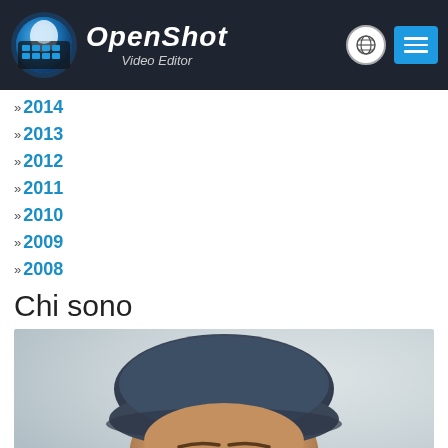OpenShot Video Editor
2014
2013
2012
2011
2010
2009
2008
Chi sono
[Figure (photo): Portrait photo of a person wearing a dark cap, showing forehead and eyes, blurred/out of focus background]